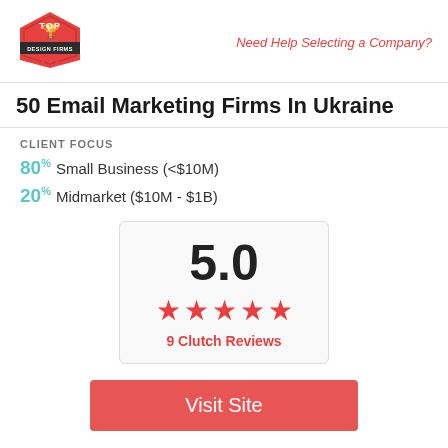[Figure (logo): Top Design Firms hexagonal badge logo in red]
Need Help Selecting a Company?
50 Email Marketing Firms In Ukraine
CLIENT FOCUS
80% Small Business (<$10M)
20% Midmarket ($10M - $1B)
5.0 ★★★★★ 9 Clutch Reviews
Visit Site